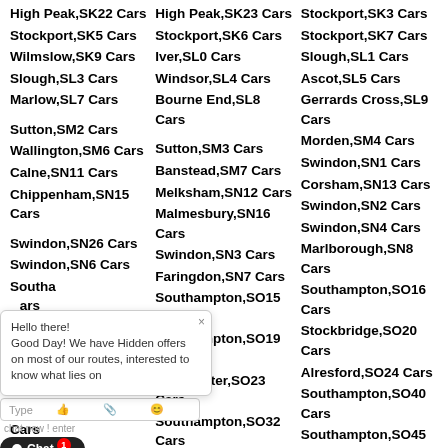High Peak,SK22 Cars
Stockport,SK5 Cars
Wilmslow,SK9 Cars
Slough,SL3 Cars
Marlow,SL7 Cars
Sutton,SM2 Cars
Wallington,SM6 Cars
Calne,SN11 Cars
Chippenham,SN15 Cars
Swindon,SN26 Cars
Swindon,SN6 Cars
Southampton Cars
Southampton Cars
Winchester Cars
Southampton,SO31 Cars
High Peak,SK23 Cars
Stockport,SK6 Cars
Iver,SL0 Cars
Windsor,SL4 Cars
Bourne End,SL8 Cars
Sutton,SM3 Cars
Banstead,SM7 Cars
Melksham,SN12 Cars
Malmesbury,SN16 Cars
Swindon,SN3 Cars
Faringdon,SN7 Cars
Southampton,SO15 Cars
Southampton,SO19 Cars
Winchester,SO23 Cars
Southampton,SO32 Cars
Stockport,SK3 Cars
Stockport,SK7 Cars
Slough,SL1 Cars
Ascot,SL5 Cars
Gerrards Cross,SL9 Cars
Morden,SM4 Cars
Swindon,SN1 Cars
Corsham,SN13 Cars
Swindon,SN2 Cars
Swindon,SN4 Cars
Marlborough,SN8 Cars
Southampton,SO16 Cars
Stockbridge,SO20 Cars
Alresford,SO24 Cars
Southampton,SO40 Cars
Southampton,SO45